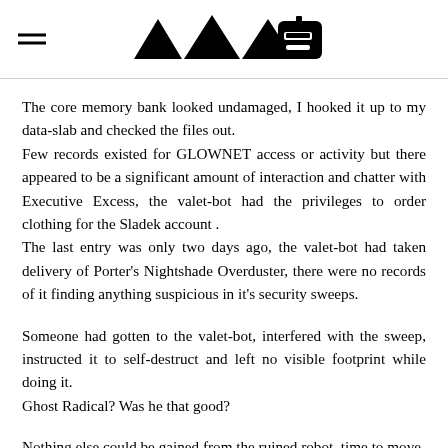≡ [logo: four triangles and a robot head icon]
The core memory bank looked undamaged, I hooked it up to my data-slab and checked the files out.
Few records existed for GLOWNET access or activity but there appeared to be a significant amount of interaction and chatter with Executive Excess, the valet-bot had the privileges to order clothing for the Sladek account .
The last entry was only two days ago, the valet-bot had taken delivery of Porter's Nightshade Overduster, there were no records of it finding anything suspicious in it's security sweeps.
Someone had gotten to the valet-bot, interfered with the sweep, instructed it to self-destruct and left no visible footprint while doing it.
Ghost Radical? Was he that good?
Nothing else could be gained from the ruined robot, time to move